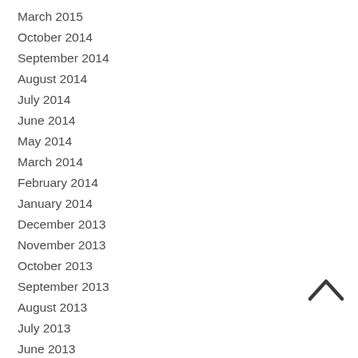March 2015
October 2014
September 2014
August 2014
July 2014
June 2014
May 2014
March 2014
February 2014
January 2014
December 2013
November 2013
October 2013
September 2013
August 2013
July 2013
June 2013
May 2013